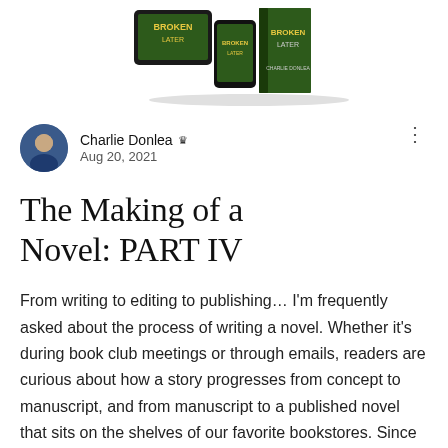[Figure (photo): Book covers and digital devices showing 'Twenty Years Later' novel — tablet, phone, and printed book arranged together]
Charlie Donlea ♛
Aug 20, 2021
The Making of a Novel: PART IV
From writing to editing to publishing… I'm frequently asked about the process of writing a novel. Whether it's during book club meetings or through emails, readers are curious about how a story progresses from concept to manuscript, and from manuscript to a published novel that sits on the shelves of our favorite bookstores. Since I've just wrapped up my sixth novel, Twenty Years Later, I figured